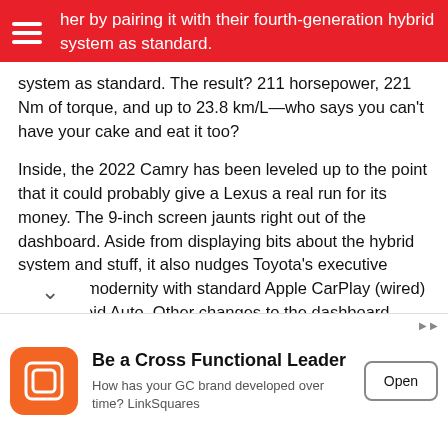her by pairing it with their fourth-generation hybrid system as standard.
system as standard. The result? 211 horsepower, 221 Nm of torque, and up to 23.8 km/L—who says you can't have your cake and eat it too?
Inside, the 2022 Camry has been leveled up to the point that it could probably give a Lexus a real run for its money. The 9-inch screen jaunts right out of the dashboard. Aside from displaying bits about the hybrid system and stuff, it also nudges Toyota's executive sedan to modernity with standard Apple CarPlay (wired) and Android Auto. Other changes to the dashboard design have been largely dictated by the aforementioned infotainment system, but there are nice improvements to the overall fit and finish too. For he obviously faux wood's been ditched in favor of a
[Figure (other): Advertisement banner: Be a Cross Functional Leader — How has your GC brand developed over time? LinkSquares. Open button.]